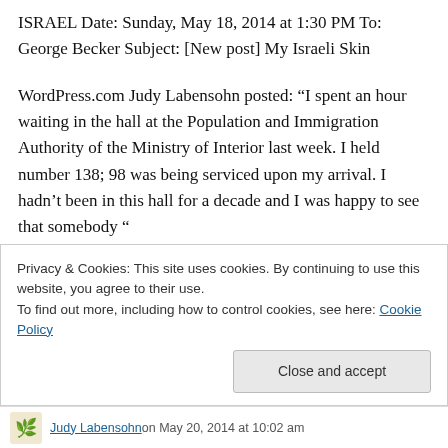ISRAEL Date: Sunday, May 18, 2014 at 1:30 PM To: George Becker Subject: [New post] My Israeli Skin
WordPress.com Judy Labensohn posted: “I spent an hour waiting in the hall at the Population and Immigration Authority of the Ministry of Interior last week. I held number 138; 98 was being serviced upon my arrival. I hadn’t been in this hall for a decade and I was happy to see that somebody “
Privacy & Cookies: This site uses cookies. By continuing to use this website, you agree to their use.
To find out more, including how to control cookies, see here: Cookie Policy
Close and accept
Judy Labensohn on May 20, 2014 at 10:02 am